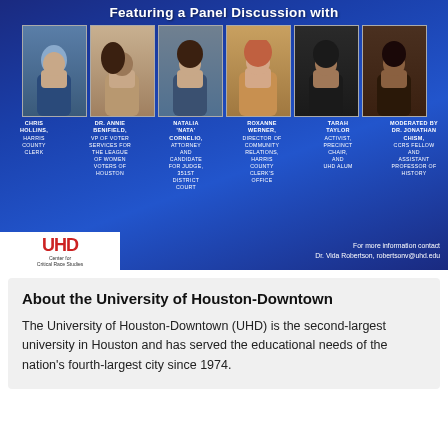[Figure (infographic): Event flyer with panel discussion heading, six headshot photos of panelists arranged in a row, names and titles below each photo, UHD logo, and contact information. Blue gradient background.]
About the University of Houston-Downtown
The University of Houston-Downtown (UHD) is the second-largest university in Houston and has served the educational needs of the nation's fourth-largest city since 1974.